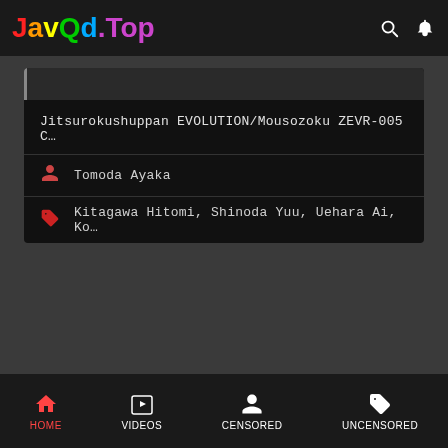JavQd.Top
Jitsurokushuppan EVOLUTION/Mousozoku ZEVR-005 C…
Tomoda Ayaka
Kitagawa Hitomi, Shinoda Yuu, Uehara Ai, Ko…
HOME  VIDEOS  CENSORED  UNCENSORED